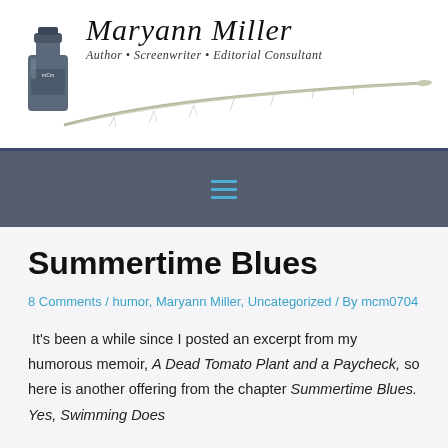[Figure (logo): Maryann Miller logo with ink bottle, feather quill, name in italic script, and tagline 'Author • Screenwriter • Editorial Consultant']
≡
Summertime Blues
8 Comments / humor, Maryann Miller, Uncategorized / By mcm0704
It's been a while since I posted an excerpt from my humorous memoir, A Dead Tomato Plant and a Paycheck, so here is another offering from the chapter Summertime Blues. Yes, Swimming Does